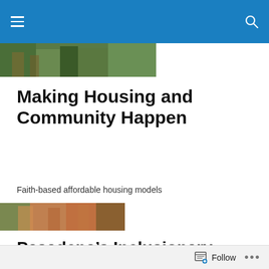[Figure (photo): Top banner photo showing green outdoor/garden scene]
Making Housing and Community Happen
Faith-based affordable housing models
[Figure (photo): Second photo showing brick building with foliage]
Pasadena’s Inclusionary housing regulations
Anthony and I are just finishing an article on why parts of these regulations need to be updated.  Stay tuned!
Here’s a peak into one of our main big ideas in the article:
Follow